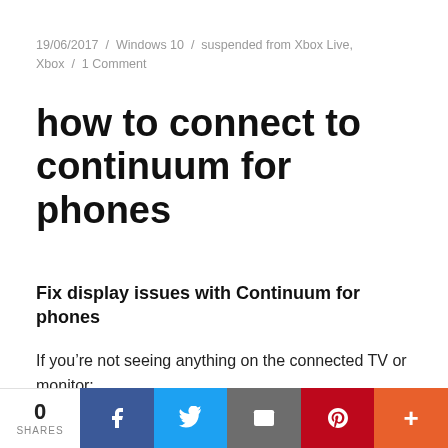19/06/2017 / Windows 10 / suspended from Xbox Live, Xbox / 1 Comment
how to connect to continuum for phones
Fix display issues with Continuum for phones
If you’re not seeing anything on the connected TV or monitor:
0 SHARES | Facebook | Twitter | Email | Pinterest | More